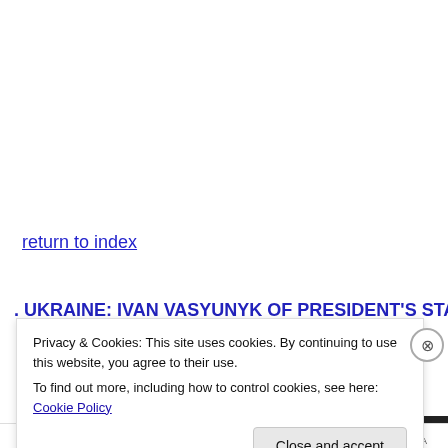return to index
. UKRAINE: IVAN VASYUNYK OF PRESIDENT'S STAFF
Privacy & Cookies: This site uses cookies. By continuing to use this website, you agree to their use.
To find out more, including how to control cookies, see here: Cookie Policy
Close and accept